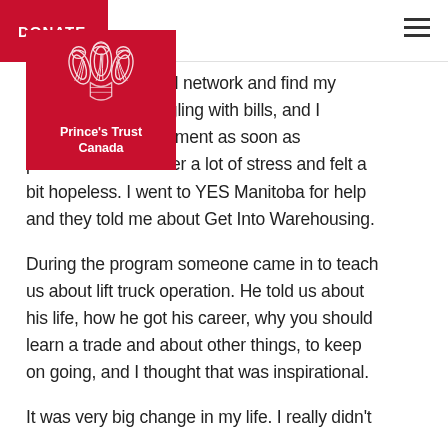DONATE
[Figure (logo): Prince's Trust Canada logo — white feathered crest on crimson red background with text 'Prince's Trust Canada']
i... world and network and find my p... re struggling with bills, and I n... d employment as soon as possible. I was under a lot of stress and felt a bit hopeless. I went to YES Manitoba for help and they told me about Get Into Warehousing.
During the program someone came in to teach us about lift truck operation. He told us about his life, how he got his career, why you should learn a trade and about other things, to keep on going, and I thought that was inspirational.
It was very big change in my life. I really didn't